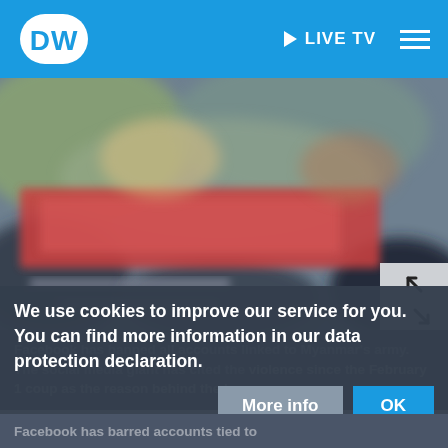DW | LIVE TV
[Figure (photo): Blurred protest image with red banner, partially obscured by cookie consent overlay]
Facebook has banned all accounts linked to Myanmar's army. The social media giant has cited the violence since the February 1 coup as the reason behind the ban.
We use cookies to improve our service for you. You can find more information in our data protection declaration.
More info
OK
Facebook has barred accounts tied to